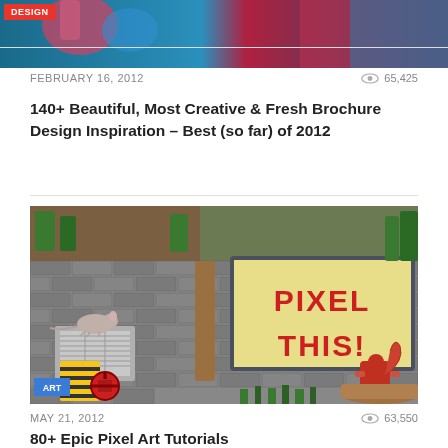[Figure (photo): Colorful design/brochure themed image at top of page with DESIGN badge label in red]
FEBRUARY 16, 2012
65,425
140+ Beautiful, Most Creative & Fresh Brochure Design Inspiration – Best (so far) of 2012
[Figure (illustration): Pixel art scene of an isometric city building with brick walls, trees, a rat, a red squirrel, and a billboard reading PIXEL THIS! with ART badge]
MAY 21, 2012
63,550
80+ Epic Pixel Art Tutorials